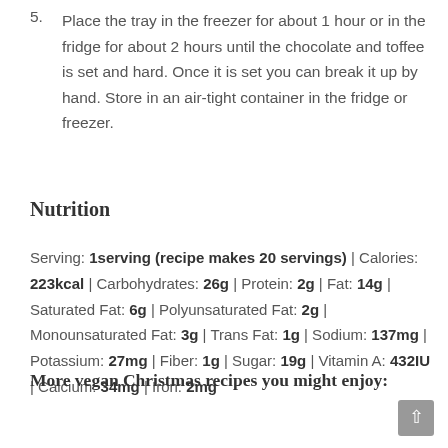5. Place the tray in the freezer for about 1 hour or in the fridge for about 2 hours until the chocolate and toffee is set and hard. Once it is set you can break it up by hand. Store in an air-tight container in the fridge or freezer.
Nutrition
Serving: 1serving (recipe makes 20 servings) | Calories: 223kcal | Carbohydrates: 26g | Protein: 2g | Fat: 14g | Saturated Fat: 6g | Polyunsaturated Fat: 2g | Monounsaturated Fat: 3g | Trans Fat: 1g | Sodium: 137mg | Potassium: 27mg | Fiber: 1g | Sugar: 19g | Vitamin A: 432IU | Calcium: 34mg | Iron: 2mg
More vegan Christmas recipes you might enjoy: